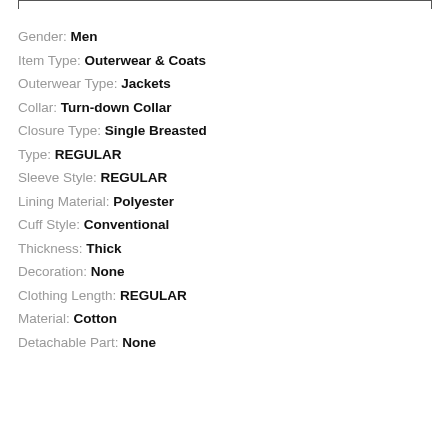Gender: Men
Item Type: Outerwear & Coats
Outerwear Type: Jackets
Collar: Turn-down Collar
Closure Type: Single Breasted
Type: REGULAR
Sleeve Style: REGULAR
Lining Material: Polyester
Cuff Style: Conventional
Thickness: Thick
Decoration: None
Clothing Length: REGULAR
Material: Cotton
Detachable Part: None